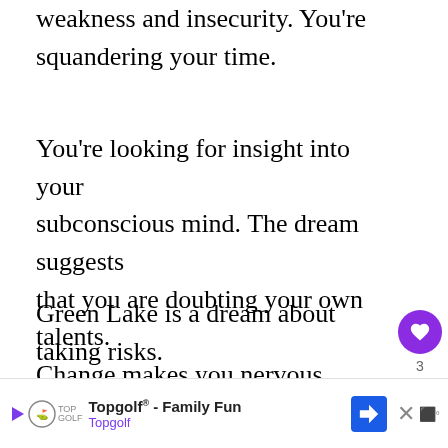weakness and insecurity. You’re squandering your time.
You’re looking for insight into your subconscious mind. The dream suggests that you are doubting your own talents. Change makes you nervous.
Green Lake is a dream about taking risks. You might require some inspiration to get things started.
You should devote some time to focusing on